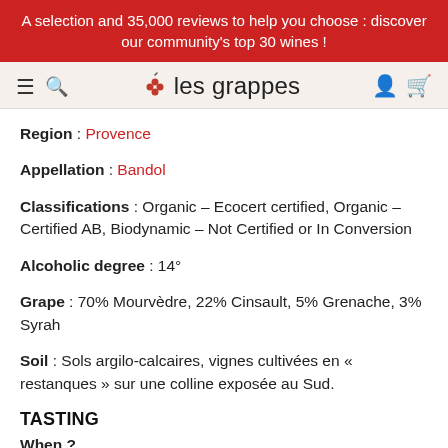A selection and 35,000 reviews to help you choose : discover our community's top 30 wines !
[Figure (logo): Les Grappes website header with hamburger menu, search icon, grape cluster logo, site name 'les grappes', user account icon, and shopping bag icon]
Region : Provence
Appellation : Bandol
Classifications : Organic – Ecocert certified, Organic – Certified AB, Biodynamic – Not Certified or In Conversion
Alcoholic degree : 14°
Grape : 70% Mourvèdre, 22% Cinsault, 5% Grenache, 3% Syrah
Soil : Sols argilo-calcaires, vignes cultivées en « restanques » sur une colline exposée au Sud.
TASTING
When ?